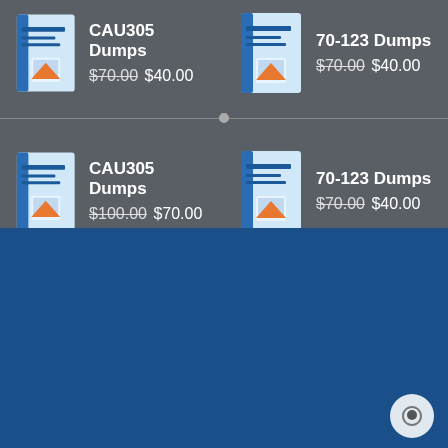[Figure (illustration): Product book image for CAU305 Dumps (top row, left)]
CAU305 Dumps $70.00 $40.00
[Figure (illustration): Product book image for 70-123 Dumps (top row, right)]
70-123 Dumps $70.00 $40.00
[Figure (illustration): Product book image for CAU305 Dumps (bottom row, left)]
CAU305 Dumps $100.00 $70.00
[Figure (illustration): Product book image for 70-123 Dumps (bottom row, right)]
70-123 Dumps $70.00 $40.00
About Us
Exam4Lead offers you the study material to prepare for all IT certification exams. The latest updated and actual material is provided with 100% accuracy according to the real exam. Only the certified professionals and experts of the subject prepare the material to ensure your success.